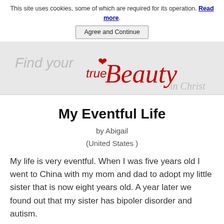This site uses cookies, some of which are required for its operation. Read more.
[Figure (illustration): Website banner reading 'Find your true Beauty in Christ' with red cursive text and a red heart icon on a light gray background]
My Eventful Life
by Abigail
(United States )
My life is very eventful. When I was five years old I went to China with my mom and dad to adopt my little sister that is now eight years old. A year later we found out that my sister has bipoler disorder and autism.